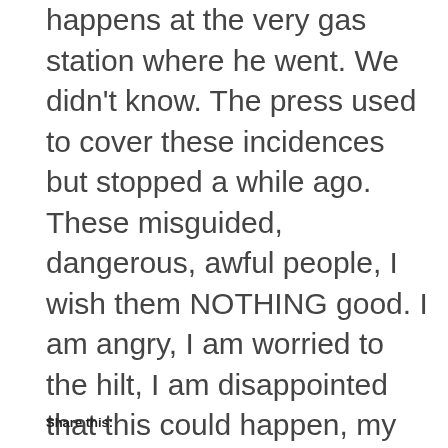happens at the very gas station where he went. We didn't know. The press used to cover these incidences but stopped a while ago. These misguided, dangerous, awful people, I wish them NOTHING good. I am angry, I am worried to the hilt, I am disappointed that this could happen, my son, my precious son.
Share this: